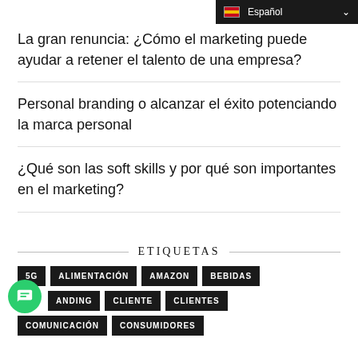Español
La gran renuncia: ¿Cómo el marketing puede ayudar a retener el talento de una empresa?
Personal branding o alcanzar el éxito potenciando la marca personal
¿Qué son las soft skills y por qué son importantes en el marketing?
ETIQUETAS
5G
ALIMENTACIÓN
AMAZON
BEBIDAS
BRANDING
CLIENTE
CLIENTES
COMUNICACIÓN
CONSUMIDORES